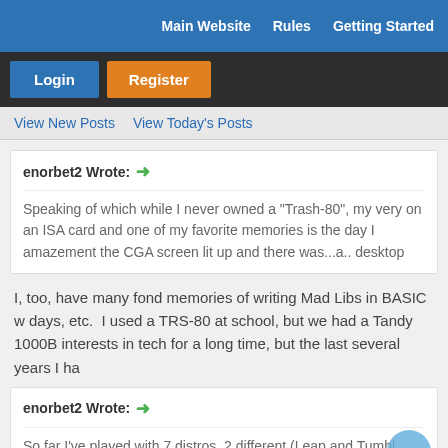Main Website   Rules   Getting Started
Login   Register
View New Posts   View Today's Posts
enorbet2 Wrote: →
Speaking of which while I never owned a "Trash-80", my very on an ISA card and one of my favorite memories is the day I amazement the CGA screen lit up and there was...a.. desktop
I, too, have many fond memories of writing Mad Libs in BASIC w days, etc.  I used a TRS-80 at school, but we had a Tandy 1000B interests in tech for a long time, but the last several years I ha
enorbet2 Wrote: →
So far I've played with 7 distros, 2 different (Leap and Tumbl (which is also Armbian IIRC), Manjaro, NEMS and NetBSD.  Th